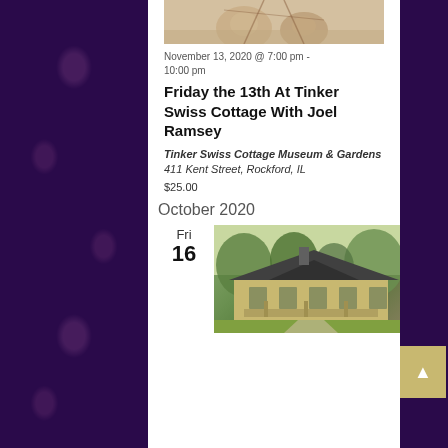[Figure (photo): Partial top view of skulls or decorative objects, sepia toned photo shown partially at top of content area]
November 13, 2020 @ 7:00 pm - 10:00 pm
Friday the 13th At Tinker Swiss Cottage With Joel Ramsey
Tinker Swiss Cottage Museum & Gardens 411 Kent Street, Rockford, IL
$25.00
October 2020
Fri
16
[Figure (photo): Exterior photo of Tinker Swiss Cottage Museum, a historic Victorian-style building surrounded by trees and green lawn]